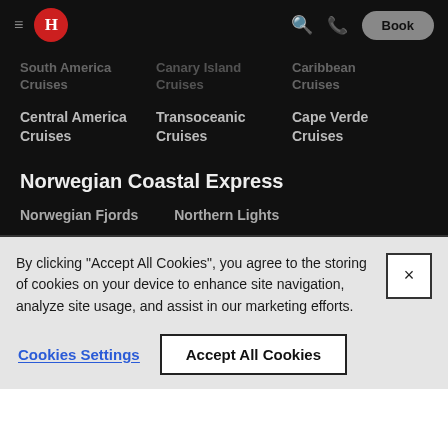[Figure (screenshot): Navigation bar with hamburger menu, red H logo, search icon, phone icon, and Book button on black background]
South America Cruises
Canary Island Cruises
Central America Cruises
Transoceanic Cruises
Cape Verde Cruises
Norwegian Coastal Express
Norwegian Fjords
Northern Lights
By clicking "Accept All Cookies", you agree to the storing of cookies on your device to enhance site navigation, analyze site usage, and assist in our marketing efforts.